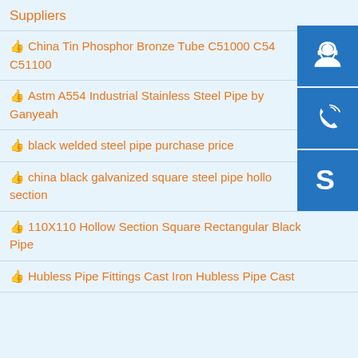Suppliers
China Tin Phosphor Bronze Tube C51000 C54 C51100
Astm A554 Industrial Stainless Steel Pipe by Ganyeah
black welded steel pipe purchase price
china black galvanized square steel pipe hollow section
110X110 Hollow Section Square Rectangular Black Pipe
Hubless Pipe Fittings Cast Iron Hubless Pipe Cast